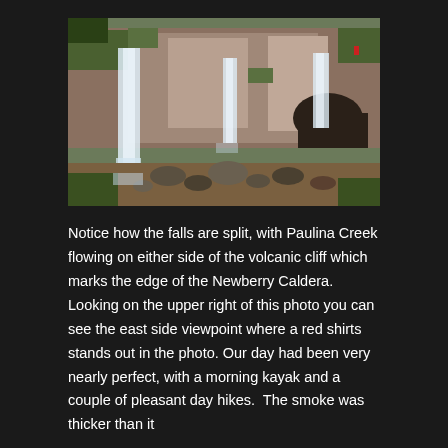[Figure (photo): A waterfall scene showing Paulina Creek split and flowing on either side of a volcanic cliff, with rocky terrain, green vegetation, and water cascading down.]
Notice how the falls are split, with Paulina Creek flowing on either side of the volcanic cliff which marks the edge of the Newberry Caldera. Looking on the upper right of this photo you can see the east side viewpoint where a red shirts stands out in the photo. Our day had been very nearly perfect, with a morning kayak and a couple of pleasant day hikes.  The smoke was thicker than it